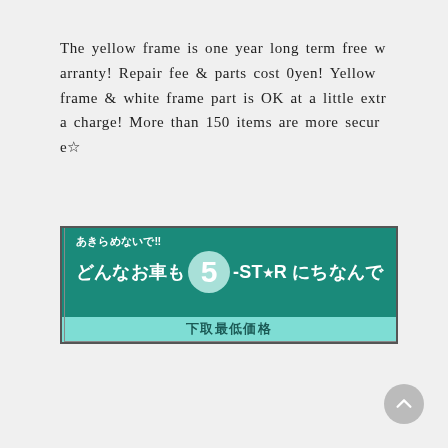The yellow frame is one year long term free warranty! Repair fee & parts cost 0yen! Yellow frame & white frame part is OK at a little extra charge! More than 150 items are more secure☆
[Figure (illustration): A teal/turquoise promotional banner with Japanese text reading 'あきらめないで!! どんなお車も5-STARにちなんで' (Don't give up!! Any car with 5-STAR) and bottom text '下取最低価格' with a large '5' badge in a circular seal, and repeated '5-STAR' background watermark text.]